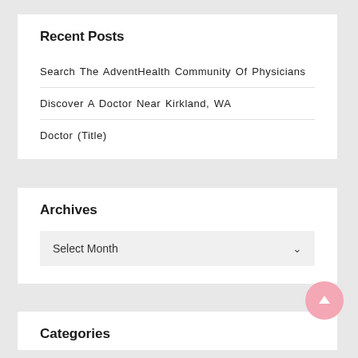Recent Posts
Search The AdventHealth Community Of Physicians
Discover A Doctor Near Kirkland, WA
Doctor (Title)
Archives
Select Month
Categories